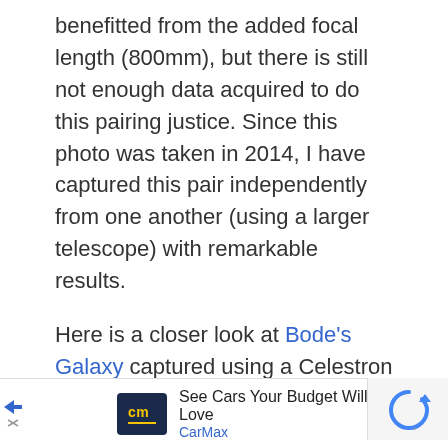benefitted from the added focal length (800mm), but there is still not enough data acquired to do this pairing justice. Since this photo was taken in 2014, I have captured this pair independently from one another (using a larger telescope) with remarkable results.
Here is a closer look at Bode's Galaxy captured using a Celestron EdgeHD 11 telescope with a focal length of about 2000mm (using a reducer lens). You can now see some of the fine details and textures of this grand spiral design galaxy in detail.
[Figure (other): CarMax advertisement banner with logo and tagline 'See Cars Your Budget Will Love']